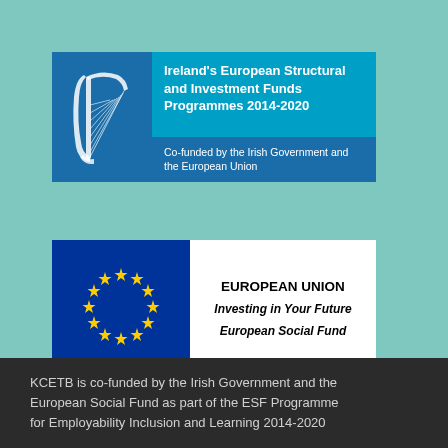[Figure (logo): Ireland's European Structural and Investment Funds Programmes 2014-2020 logo with harp on blue background and text panel]
[Figure (logo): European Union Investing in Your Future - European Social Fund logo with EU flag and text panel]
KCETB is co-funded by the Irish Government and the European Social Fund as part of the ESF Programme for Employability Inclusion and Learning 2014-2020